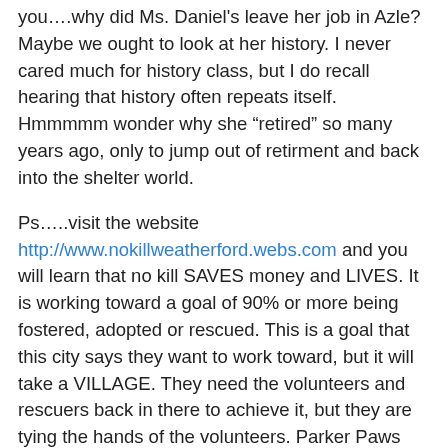you….why did Ms. Daniel's leave her job in Azle? Maybe we ought to look at her history. I never cared much for history class, but I do recall hearing that history often repeats itself. Hmmmmm wonder why she “retired” so many years ago, only to jump out of retirment and back into the shelter world.
Ps…..visit the website http://www.nokillweatherford.webs.com and you will learn that no kill SAVES money and LIVES. It is working toward a goal of 90% or more being fostered, adopted or rescued. This is a goal that this city says they want to work toward, but it will take a VILLAGE. They need the volunteers and rescuers back in there to achieve it, but they are tying the hands of the volunteers. Parker Paws